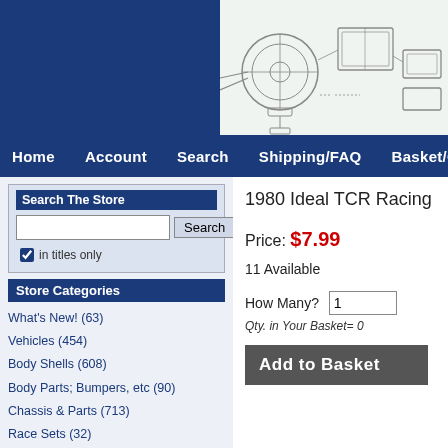[Figure (illustration): Engineering-style line drawing of slot car racing parts on white/light background in header area]
Home  Account  Search  Shipping/FAQ  Basket/Ch
Search The Store
in titles only
Store Categories
What's New! (63)
Vehicles (454)
Body Shells (608)
Body Parts; Bumpers, etc (90)
Chassis & Parts (713)
Race Sets (32)
Track Expansion & Layout (626)
Prototypes, Artwork & HO Odd (47)
Catalogs Literature Stickers (63)
Bulk & Wholesale (16)
HO Train Related (19)
O-Guage Aurora (2)
Other 1/43 Scale (9)
1/32 & 1/24 (231)
All Products (2000)
1980 Ideal TCR Racing
Price: $7.99
11 Available
How Many? 1
Qty. in Your Basket= 0
Add to Basket